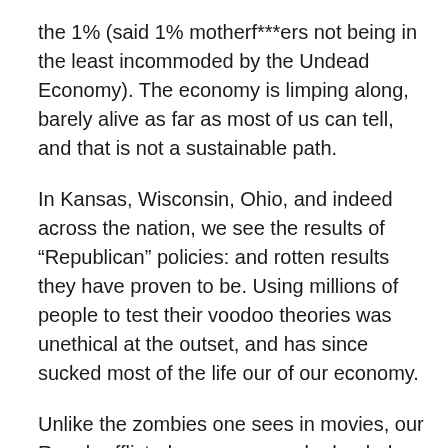the 1% (said 1% motherf***ers not being in the least incommoded by the Undead Economy). The economy is limping along, barely alive as far as most of us can tell, and that is not a sustainable path.
In Kansas, Wisconsin, Ohio, and indeed across the nation, we see the results of “Republican” policies: and rotten results they have proven to be. Using millions of people to test their voodoo theories was unethical at the outset, and has since sucked most of the life our of our economy.
Unlike the zombies one sees in movies, our Repub-afflicted economy can be healed and brought back to life. All that is needed is to lay off the voodoo, apply some healthy policies, and the rotting ambulatory corpse of our nation will be restored to health.